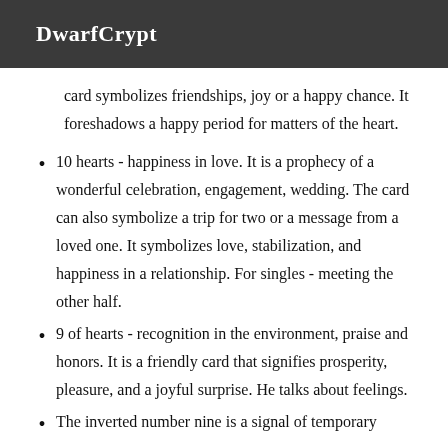DwarfCrypt
card symbolizes friendships, joy or a happy chance. It foreshadows a happy period for matters of the heart.
10 hearts - happiness in love. It is a prophecy of a wonderful celebration, engagement, wedding. The card can also symbolize a trip for two or a message from a loved one. It symbolizes love, stabilization, and happiness in a relationship. For singles - meeting the other half.
9 of hearts - recognition in the environment, praise and honors. It is a friendly card that signifies prosperity, pleasure, and a joyful surprise. He talks about feelings.
The inverted number nine is a signal of temporary